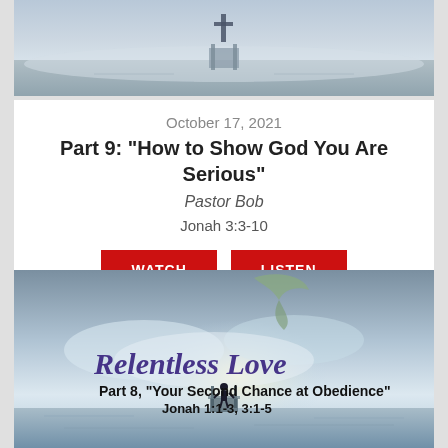[Figure (photo): Misty dock/pier with a cross silhouette at the end, foggy water scene in grey-blue tones]
October 17, 2021
Part 9: "How to Show God You Are Serious"
Pastor Bob
Jonah 3:3-10
[Figure (other): WATCH and LISTEN buttons (red buttons)]
[Figure (illustration): Relentless Love sermon series artwork: whale tail in sky, misty lake with dock, man silhouette standing on dock. Text: Relentless Love, Part 8, Your Second Chance at Obedience, Jonah 1:1-3, 3:1-5]